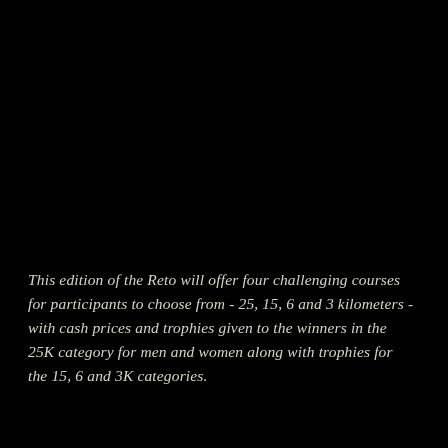This edition of the Reto will offer four challenging courses for participants to choose from - 25, 15, 6 and 3 kilometers - with cash prices and trophies given to the winners in the 25K category for men and women along with trophies for the 15, 6 and 3K categories.